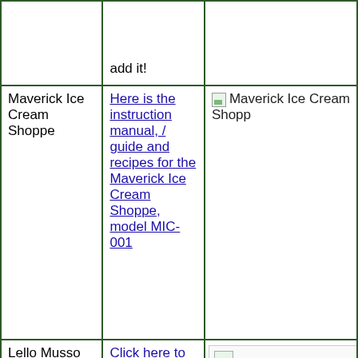|  | add it! |  |
| Maverick Ice Cream Shoppe | Here is the instruction manual, / guide and recipes for the Maverick Ice Cream Shoppe, model MIC-001 | [Maverick Ice Cream Shoppe image] |
| Lello Musso | Click here to download the Musso Lello 4080 Lissino instruction and recipe book. Also called the Lello Musso Mini. If you have the... | [image] |